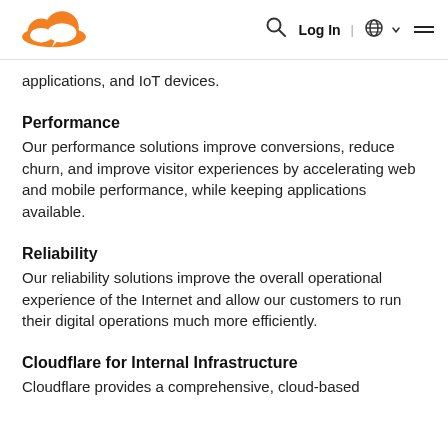Cloudflare logo, Search, Log In, Globe, Menu
applications, and IoT devices.
Performance
Our performance solutions improve conversions, reduce churn, and improve visitor experiences by accelerating web and mobile performance, while keeping applications available.
Reliability
Our reliability solutions improve the overall operational experience of the Internet and allow our customers to run their digital operations much more efficiently.
Cloudflare for Internal Infrastructure
Cloudflare provides a comprehensive, cloud-based